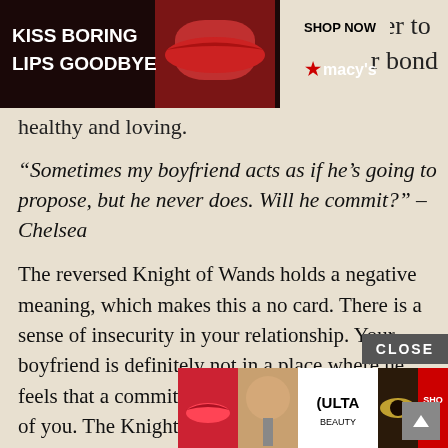[Figure (screenshot): Advertisement banner: 'KISS BORING LIPS GOODBYE' with woman's lips photo, SHOP NOW button, and Macy's logo]
ber to
r bond
healthy and loving.
“Sometimes my boyfriend acts as if he’s going to propose, but he never does. Will he commit?” – Chelsea
The reversed Knight of Wands holds a negative meaning, which makes this a no card. There is a sense of insecurity in your relationship. Your boyfriend is definitely not in a place where he feels that a commitment its the best thing for both of you. The Knight of Wands expresses negative feelings within your relationship. This could imply that one of you has a temper.
Perhap
[Figure (screenshot): ULTA beauty advertisement banner with makeup images and SHOP NOW button, plus CLOSE button overlay]